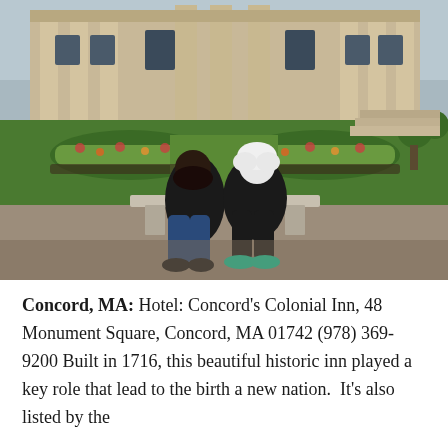[Figure (photo): Two women sitting on a stone bench in a formal garden with manicured lawns, flower beds, and a large classical stone building with columns in the background. One woman has dark hair and is wearing a black jacket and jeans. The other has white hair and is wearing a black jacket. The woman with white hair is wearing bright teal/green sneakers.]
Concord, MA: Hotel: Concord's Colonial Inn, 48 Monument Square, Concord, MA 01742 (978) 369-9200 Built in 1716, this beautiful historic inn played a key role that lead to the birth a new nation.  It's also listed by the